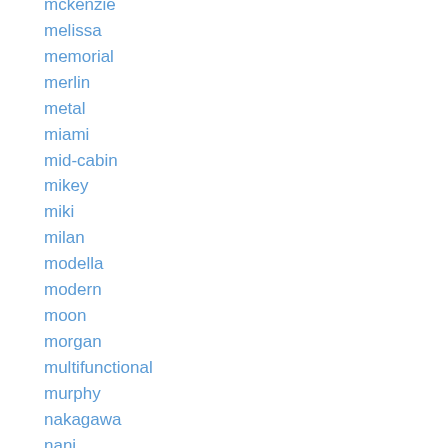mckenzie
melissa
memorial
merlin
metal
miami
mid-cabin
mikey
miki
milan
modella
modern
moon
morgan
multifunctional
murphy
nakagawa
nani
natural
naturalwhite
nepal
neptune
neuton